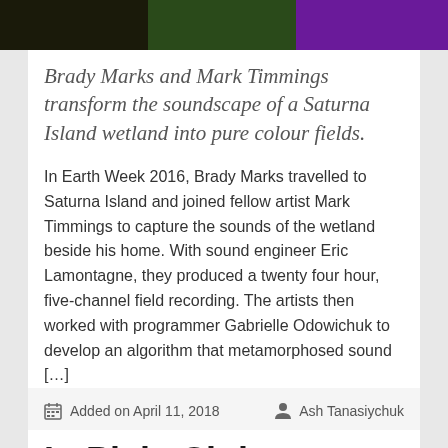[Figure (photo): Dark photograph strip showing green and purple lighting]
Brady Marks and Mark Timmings transform the soundscape of a Saturna Island wetland into pure colour fields.
In Earth Week 2016, Brady Marks travelled to Saturna Island and joined fellow artist Mark Timmings to capture the sounds of the wetland beside his home. With sound engineer Eric Lamontagne, they produced a twenty four hour, five-channel field recording. The artists then worked with programmer Gabrielle Odowichuk to develop an algorithm that metamorphosed sound […]
Added on April 11, 2018
Ash Tanasiychuk
In Plain Sight, Phantom